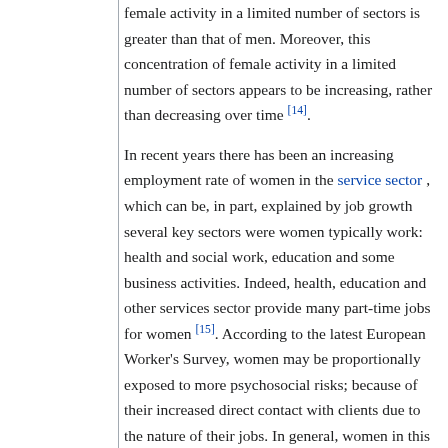female activity in a limited number of sectors is greater than that of men. Moreover, this concentration of female activity in a limited number of sectors appears to be increasing, rather than decreasing over time [14].
In recent years there has been an increasing employment rate of women in the service sector , which can be, in part, explained by job growth several key sectors were women typically work: health and social work, education and some business activities. Indeed, health, education and other services sector provide many part-time jobs for women [15]. According to the latest European Worker's Survey, women may be proportionally exposed to more psychosocial risks; because of their increased direct contact with clients due to the nature of their jobs. In general, women in this sector report slightly higher levels of unwanted sexual attention, threats, humiliating behaviour, sexual harassment and bullying; whilst men, in contrast, reported higher levels of violence